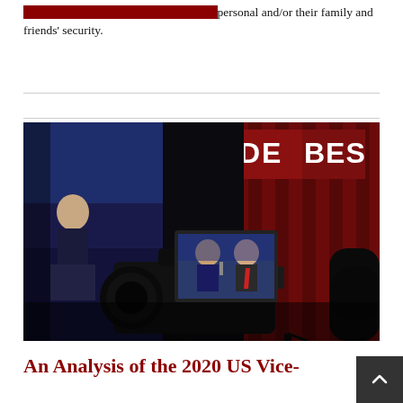remain anonymous for the sake of their personal and/or their family and friends' security.
[Figure (photo): A TV camera in the foreground shows a monitor displaying two debate participants (Kamala Harris and Mike Pence) at the 2020 US Vice-Presidential debate. The background shows the debate stage with blue lighting on the left and red draping on the right, with a 'DEBATE' sign visible.]
An Analysis of the 2020 US Vice-